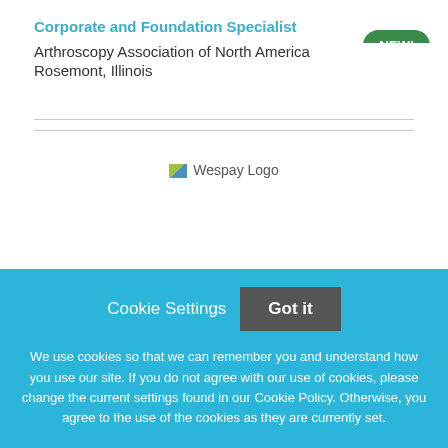Corporate and Foundation Specialist
Arthroscopy Association of North America
Rosemont, Illinois
[Figure (logo): Wespay Logo image placeholder]
Cookie Settings  Got it
We use cookies so that we can remember you and understand how you use our site. If you do not agree with our use of cookies, please change the current settings found in our Cookie Policy. Otherwise, you agree to the use of the cookies as they are currently set.